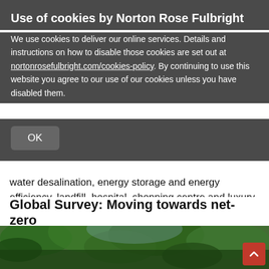Use of cookies by Norton Rose Fulbright
We use cookies to deliver our online services. Details and instructions on how to disable those cookies are set out at nortonrosefulbright.com/cookies-policy. By continuing to use this website you agree to our use of our cookies unless you have disabled them.
OK
water desalination, energy storage and energy efficiency, landfill, hospital, shopping centre and luxury resort, roads and highways, and schools.
Luigi trained with the firm and completed a six-month secondment in our Johannesburg office.
Global Survey: Moving towards net-zero
[Figure (photo): Forest canopy photo with green trees viewed from below, partially visible at bottom of page]